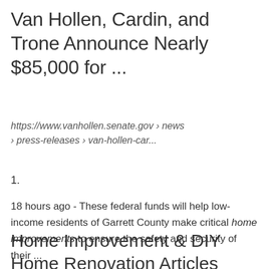Van Hollen, Cardin, and Trone Announce Nearly $85,000 for ...
https://www.vanhollen.senate.gov › news › press-releases › van-hollen-car...
1.
18 hours ago - These federal funds will help low-income residents of Garrett County make critical home improvements to ensure the safety and security of their ...
Home Improvement & DIY Home Renovation Articles